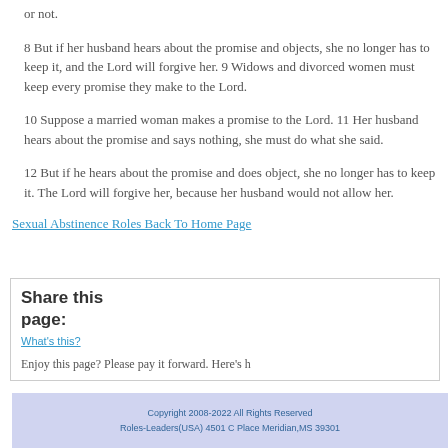or not.
8 But if her husband hears about the promise and objects, she no longer has to keep it, and the Lord will forgive her. 9 Widows and divorced women must keep every promise they make to the Lord.
10 Suppose a married woman makes a promise to the Lord. 11 Her husband hears about the promise and says nothing, she must do what she said.
12 But if he hears about the promise and does object, she no longer has to keep it. The Lord will forgive her, because her husband would not allow her.
Sexual Abstinence Roles Back To Home Page
Share this page:
What's this?
Enjoy this page? Please pay it forward. Here's h
Copyright 2008-2022 All Rights Reserved
Roles-Leaders(USA) 4501 C Place Meridian,MS 39301